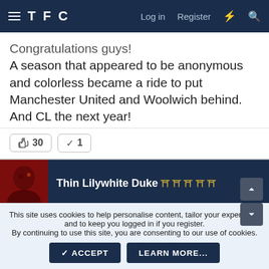TFC   Log in   Register
Congratulations guys!
A season that appeared to be anonymous and colorless became a ride to put Manchester United and Woolwich behind.
And CL the next year!
👍 30   ✓ 1
Thin Lilywhite Duke 🏆🏆🏆🏆🏆
4 Apr 2022   #2,061
This site uses cookies to help personalise content, tailor your experience and to keep you logged in if you register.
By continuing to use this site, you are consenting to our use of cookies.
✓ ACCEPT   LEARN MORE...